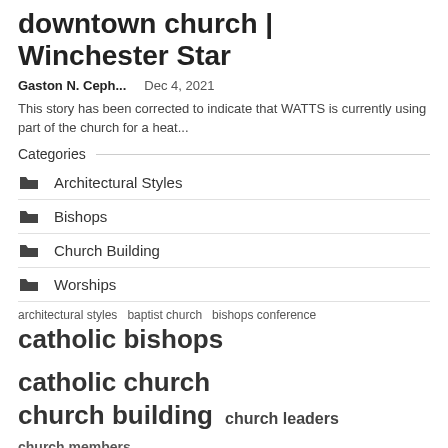downtown church | Winchester Star
Gaston N. Ceph...   Dec 4, 2021
This story has been corrected to indicate that WATTS is currently using part of the church for a heat...
Categories
Architectural Styles
Bishops
Church Building
Worships
architectural styles   baptist church   bishops conference
catholic bishops   catholic church
church building   church leaders   church members